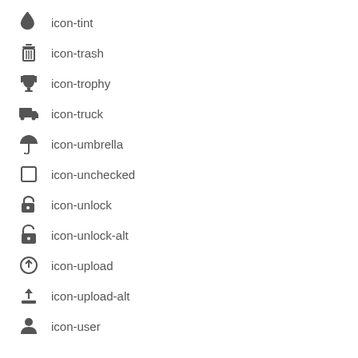icon-tint
icon-trash
icon-trophy
icon-truck
icon-umbrella
icon-unchecked
icon-unlock
icon-unlock-alt
icon-upload
icon-upload-alt
icon-user